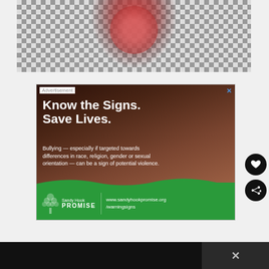[Figure (photo): Top portion of a drink/beverage with berries on a checkered background]
[Figure (photo): Sandy Hook Promise advertisement: 'Know the Signs. Save Lives.' with image of person sitting against brick wall. Text: 'Bullying — especially if targeted towards differences in race, religion, gender or sexual orientation — can be a sign of potential violence.' Sandy Hook Promise logo and www.sandyhookpromise.org/warningsigns]